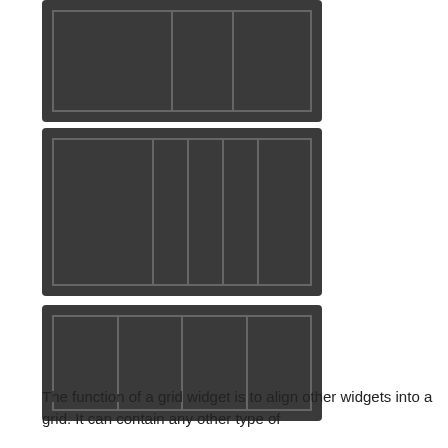[Figure (schematic): Dark rectangular box containing a grid layout with 2 columns in the top row and 1 large cell arrangement]
[Figure (schematic): Dark rectangular box containing a grid layout with 4 narrow columns plus 1 wide column]
[Figure (schematic): Dark rectangular box containing a grid layout with 4 equal columns]
The function of a grid widget is to align other widgets into a grid. It can contain any other type of